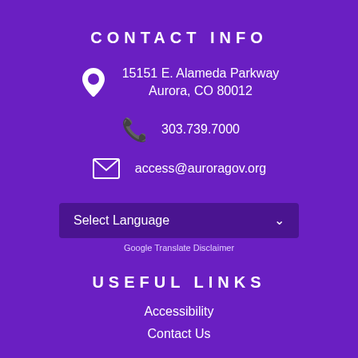CONTACT INFO
15151 E. Alameda Parkway
Aurora, CO 80012
303.739.7000
access@auroragov.org
Select Language
Google Translate Disclaimer
USEFUL LINKS
Accessibility
Contact Us